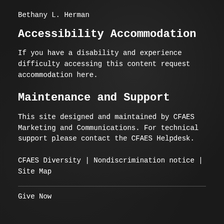Bethany L. Herman
Accessibility Accommodation
If you have a disability and experience difficulty accessing this content request accommodation here.
Maintenance and Support
This site designed and maintained by CFAES Marketing and Communications. For technical support please contact the CFAES Helpdesk.
CFAES Diversity  |  Nondiscrimination notice  |  Site Map
Give Now